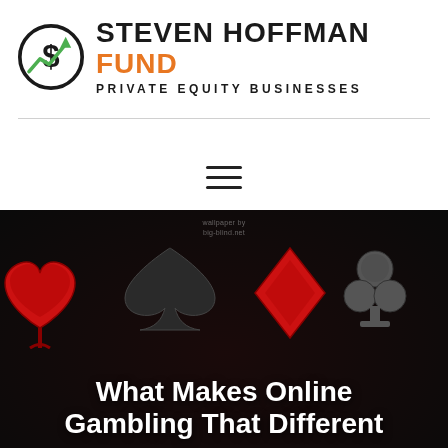[Figure (logo): Steven Hoffman Fund logo with dollar sign and stock chart arrow icon, black and orange text, subtitle PRIVATE EQUITY BUSINESSES]
[Figure (other): Hamburger menu icon (three horizontal lines)]
[Figure (photo): Dark background with playing card suits (heart, spade, diamond, club) in red and dark grey/black, with watermark text 'wallpaper by big-blind.net']
What Makes Online Gambling That Different